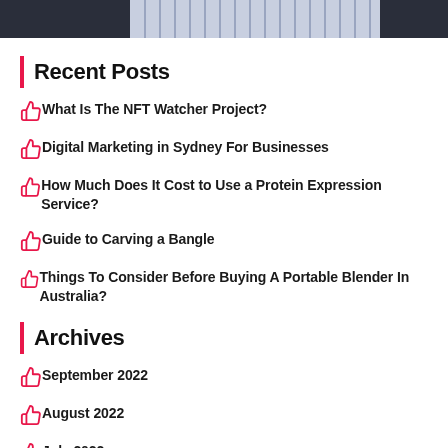[Figure (photo): Top portion of a person wearing a striped shirt and dark jacket, cropped at the top of the page]
Recent Posts
What Is The NFT Watcher Project?
Digital Marketing in Sydney For Businesses
How Much Does It Cost to Use a Protein Expression Service?
Guide to Carving a Bangle
Things To Consider Before Buying A Portable Blender In Australia?
Archives
September 2022
August 2022
July 2022